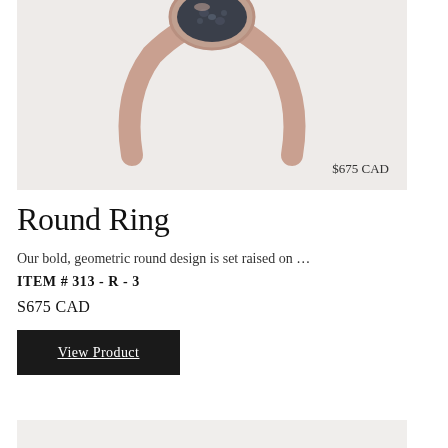[Figure (photo): Product photo of a rose gold ring with a round geometric top set with dark blue/black diamonds or stones, photographed from above on a light gray background. Price overlay reads $675 CAD in the bottom right corner.]
Round Ring
Our bold, geometric round design is set raised on …
ITEM # 313 - R - 3
S675 CAD
View Product
[Figure (photo): Bottom portion of another product photo, showing a light gray/beige background, partially visible.]